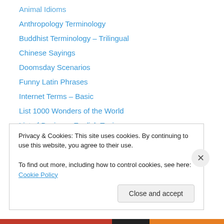Animal Idioms
Anthropology Terminology
Buddhist Terminology – Trilingual
Chinese Sayings
Doomsday Scenarios
Funny Latin Phrases
Internet Terms – Basic
List 1000 Wonders of the World
List of Business English Topics
List of Character Types
List of Common Jobs
List of Communication Theories
List of Dangerous Things, Risk Factor, Survival Rate
List of Debate Topics (300+)
Privacy & Cookies: This site uses cookies. By continuing to use this website, you agree to their use.
To find out more, including how to control cookies, see here: Cookie Policy